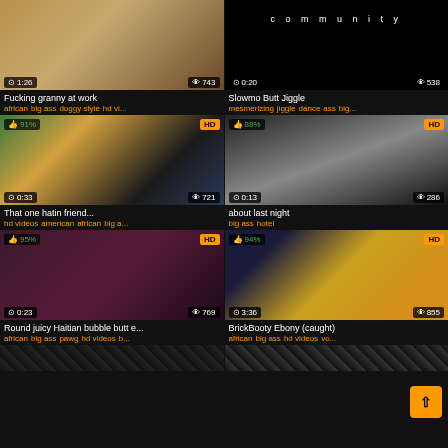[Figure (screenshot): Video thumbnail: Fucking granny at work, duration 1:26, views 743]
Fucking granny at work
african big ass doggy style hd vi...
[Figure (screenshot): Video thumbnail: Slowmo Butt Jiggle, duration 0:20, views 538, community text]
Slowmo Butt Jiggle
mesmerizing jiggle dance ass big...
[Figure (screenshot): Video thumbnail: That one hatin friend..., 91% rating, HD, duration 0:33, views 721]
That one hatin friend...
hd videos american african big a...
[Figure (screenshot): Video thumbnail: about last night, 88% rating, HD, duration 0:13, views 286]
about last night
big ass hotel
[Figure (screenshot): Video thumbnail: Round juicy Haitian bubble butt e..., 95% rating, HD, duration 0:23, views 769]
Round juicy Haitian bubble butt e...
african big ass pawg hd videos b...
[Figure (screenshot): Video thumbnail: BrickBooty Ebony (caught), 94% rating, HD, duration 3:36, views 855]
BrickBooty Ebony (caught)
african big ass hd videos vo...